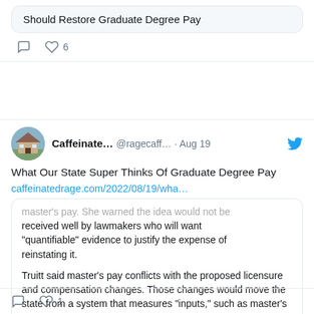Should Restore Graduate Degree Pay
6 likes
Caffeinate… @ragecaff… · Aug 19
What Our State Super Thinks Of Graduate Degree Pay
caffeinatedrage.com/2022/08/19/wha…
master's pay. She warned the idea would not be received well by lawmakers who will want "quantifiable" evidence to justify the expense of reinstating it. Truitt said master's pay conflicts with the proposed licensure and compensation changes. Those changes would move the state from a system that measures "inputs," such as master's degrees, to
caffeinatedrage.com
What Our State Super Thinks Of Graduate Degree Pay
1 like